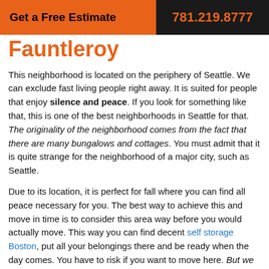Get a Free Estimate | 781.219.8777
Fauntleroy
This neighborhood is located on the periphery of Seattle. We can exclude fast living people right away. It is suited for people that enjoy silence and peace. If you look for something like that, this is one of the best neighborhoods in Seattle for that. The originality of the neighborhood comes from the fact that there are many bungalows and cottages. You must admit that it is quite strange for the neighborhood of a major city, such as Seattle.
Due to its location, it is perfect for fall where you can find all peace necessary for you. The best way to achieve this and move in time is to consider this area way before you would actually move. This way you can find decent self storage Boston, put all your belongings there and be ready when the day comes. You have to risk if you want to move here. But we can assure you that you won't regret once you feel the freedom this part of the city provides.
Summary
We are sad that we can't include all of the best neighborhoods in